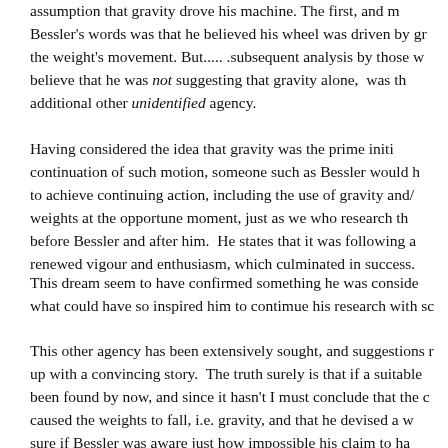assumption that gravity drove his machine. The first, and m Bessler's words was that he believed his wheel was driven by gr the weight's movement. But..... .subsequent analysis by those w believe that he was not suggesting that gravity alone, was th additional other unidentified agency.
Having considered the idea that gravity was the prime initi continuation of such motion, someone such as Bessler would h to achieve continuing action, including the use of gravity and/ weights at the opportune moment, just as we who research th before Bessler and after him. He states that it was following a renewed vigour and enthusiasm, which culminated in success.
This dream seem to have confirmed something he was conside what could have so inspired him to contimue his research with sc
This other agency has been extensively sought, and suggestions r up with a convincing story. The truth surely is that if a suitable been found by now, and since it hasn't I must conclude that the caused the weights to fall, i.e. gravity, and that he devised a w sure if Bessler was aware just how impossible his claim to ha